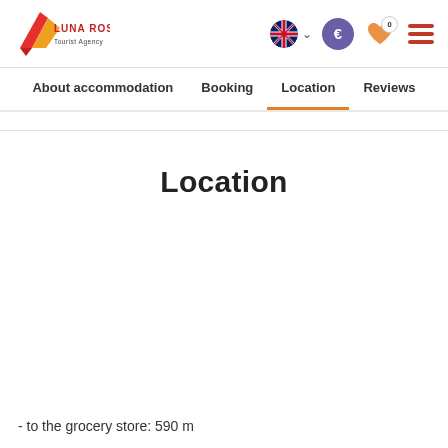[Figure (logo): Luna Rossa Tourist Agency logo — red and orange diagonal shape with text]
Luna Rossa Tourist Agency — navigation header with language selector, euro currency button, wishlist (0), and hamburger menu
About accommodation | Booking | Location (active) | Reviews
Location
- to the grocery store: 590 m